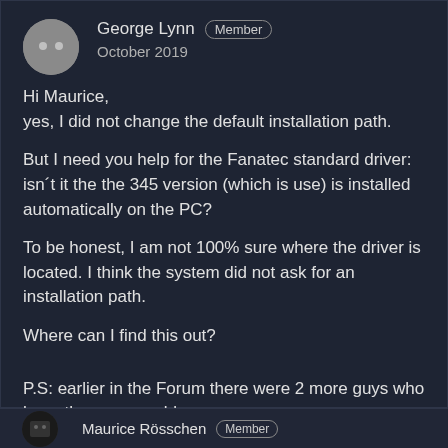George Lynn  Member
October 2019
Hi Maurice,
yes, I did not change the default installation path.

But I need you help for the Fanatec standard driver: isn´t it the the 345 version (which is use) is installed automatically on the PC?

To be honest, I am not 100% sure where the driver is located. I think the system did not ask for an installation path.

Where can I find this out?


P.S: earlier in the Forum there were 2 more guys who have the same problem.
Maurice Rösschen  Member